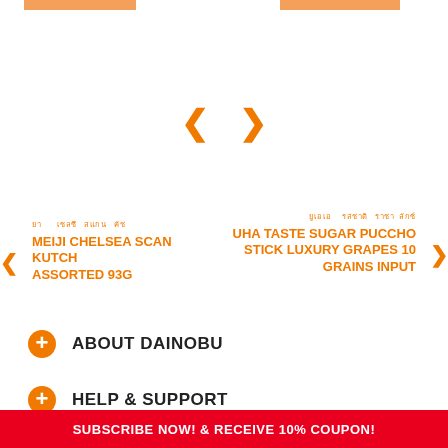[Figure (screenshot): E-commerce product page screenshot showing carousel navigation arrows (left and right chevrons in orange) in the center, two product navigation panels below — left panel showing 'MEIJI CHELSEA SCAN KUTCH ASSORTED 93G' and right panel showing 'UHA TASTE SUGAR PUCCHO STICK LUXURY GRAPES 10 GRAINS INPUT' — both in orange with Japanese subtitle text. Two orange bars at the top.]
ABOUT DAINOBU
HELP & SUPPORT
SUBSCRIBE NOW! & RECEIVE 10% COUPON!